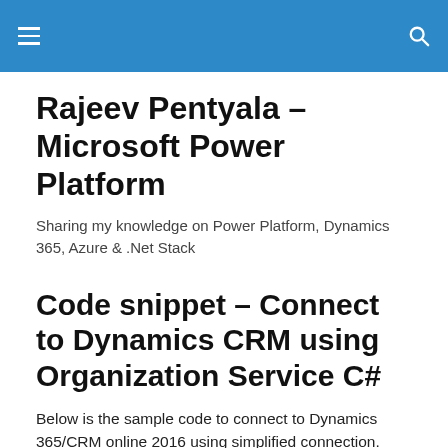≡  🔍
Rajeev Pentyala – Microsoft Power Platform
Sharing my knowledge on Power Platform, Dynamics 365, Azure & .Net Stack
Code snippet – Connect to Dynamics CRM using Organization Service C#
Below is the sample code to connect to Dynamics 365/CRM online 2016 using simplified connection.